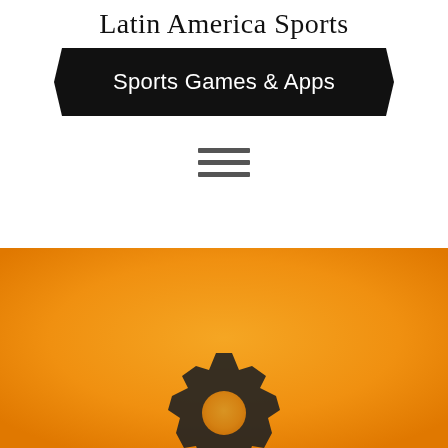Latin America Sports
[Figure (logo): Black ribbon/banner shape with white text reading 'Sports Games & Apps']
[Figure (other): Hamburger menu icon with three horizontal dark lines]
[Figure (illustration): Orange gradient background with a dark gear/cog silhouette at the bottom center, partially cropped]